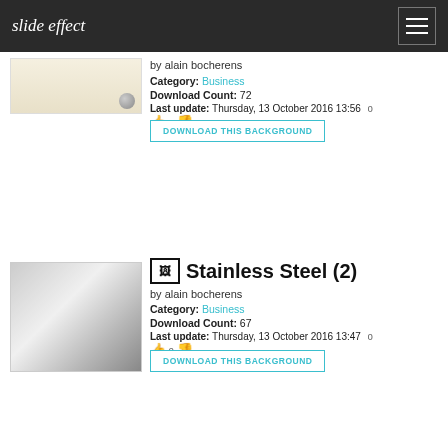slide effect
[Figure (photo): Thumbnail of a beige/cream background with a metallic ball]
by alain bocherens
Category: Business
Download Count: 72
Last update: Thursday, 13 October 2016 13:56
DOWNLOAD THIS BACKGROUND
[Figure (photo): Thumbnail of a stainless steel gradient background]
Stainless Steel (2)
by alain bocherens
Category: Business
Download Count: 67
Last update: Thursday, 13 October 2016 13:47
DOWNLOAD THIS BACKGROUND